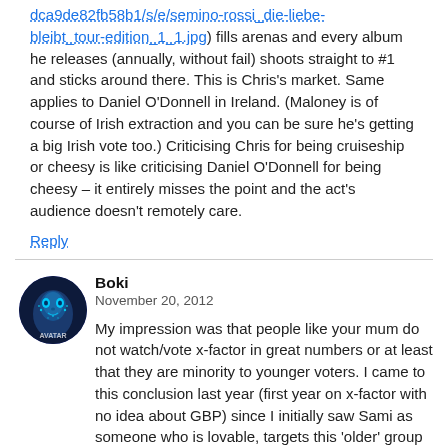dca9de82fb58b1/s/e/semino-rossi_die-liebe-bleibt_tour-edition_1_1.jpg) fills arenas and every album he releases (annually, without fail) shoots straight to #1 and sticks around there. This is Chris's market. Same applies to Daniel O'Donnell in Ireland. (Maloney is of course of Irish extraction and you can be sure he's getting a big Irish vote too.) Criticising Chris for being cruiseship or cheesy is like criticising Daniel O'Donnell for being cheesy – it entirely misses the point and the act's audience doesn't remotely care.
Reply
Boki
November 20, 2012
My impression was that people like your mum do not watch/vote x-factor in great numbers or at least that they are minority to younger voters. I came to this conclusion last year (first year on x-factor with no idea about GBP) since I initially saw Sami as someone who is lovable, targets this 'older' group perfectly and one of a kind in the competition but she went nowhere. This was seems to be different in each coun...